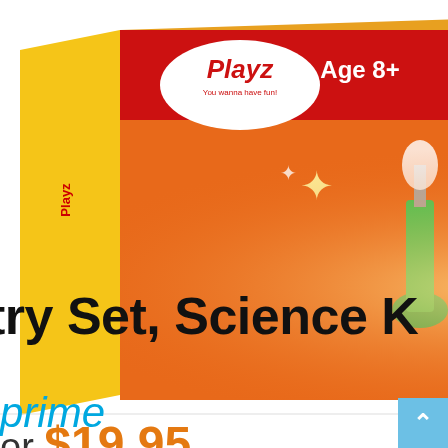[Figure (photo): Playz science kit box showing 'Age 8+' label, 'Promotes STEM education in a fun way!', 'Blast off rockets and make fizzy bombs!' text, with colorful chemistry flasks and fizzing liquid illustrations on an orange/red/yellow box.]
or $19.95
try Set, Science K
prime